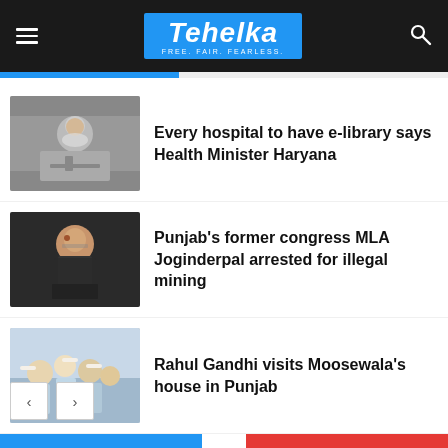Tehelka - FREE. FAIR. FEARLESS.
Every hospital to have e-library says Health Minister Haryana
Punjab's former congress MLA Joginderpal arrested for illegal mining
Rahul Gandhi visits Moosewala's house in Punjab